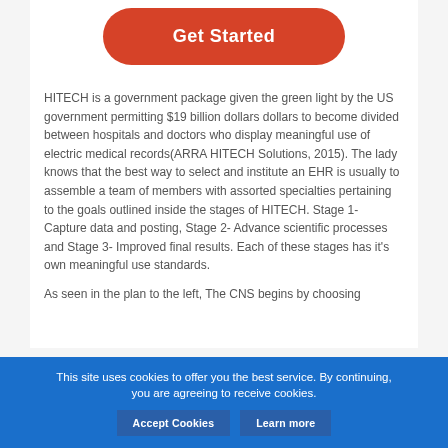[Figure (other): Red rounded rectangle button labeled 'Get Started' in white bold text]
HITECH is a government package given the green light by the US government permitting $19 billion dollars dollars to become divided between hospitals and doctors who display meaningful use of electric medical records(ARRA HITECH Solutions, 2015). The lady knows that the best way to select and institute an EHR is usually to assemble a team of members with assorted specialties pertaining to the goals outlined inside the stages of HITECH. Stage 1- Capture data and posting, Stage 2- Advance scientific processes and Stage 3- Improved final results. Each of these stages has it's own meaningful use standards.
As seen in the plan to the left, The CNS begins by choosing
This site uses cookies to offer you the best service. By continuing, you are agreeing to receive cookies.